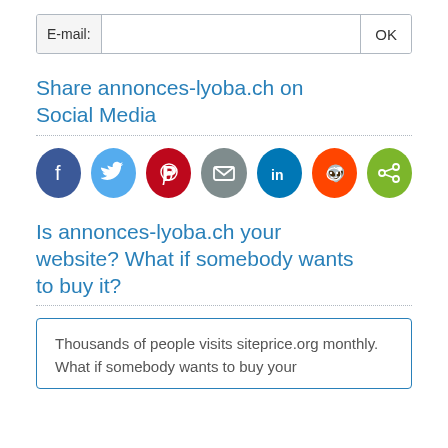E-mail:   OK
Share annonces-lyoba.ch on Social Media
[Figure (infographic): Social media share icons: Facebook (dark blue), Twitter (light blue), Pinterest (red), Email (gray), LinkedIn (dark teal), Reddit (orange-red), Share (green)]
Is annonces-lyoba.ch your website? What if somebody wants to buy it?
Thousands of people visits siteprice.org monthly. What if somebody wants to buy your